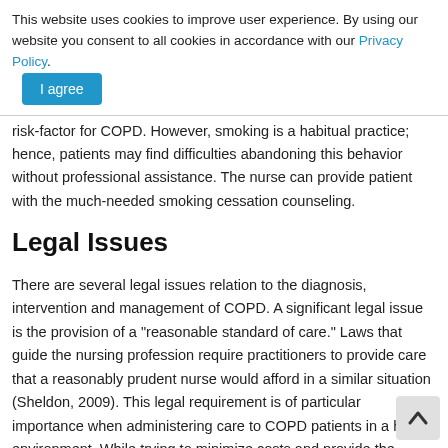This website uses cookies to improve user experience. By using our website you consent to all cookies in accordance with our Privacy Policy. I agree
risk-factor for COPD. However, smoking is a habitual practice; hence, patients may find difficulties abandoning this behavior without professional assistance. The nurse can provide patient with the much-needed smoking cessation counseling.
Legal Issues
There are several legal issues relation to the diagnosis, intervention and management of COPD. A significant legal issue is the provision of a "reasonable standard of care." Laws that guide the nursing profession require practitioners to provide care that a reasonably prudent nurse would afford in a similar situation (Sheldon, 2009). This legal requirement is of particular importance when administering care to COPD patients in a home environment. While trying to minimize costs and provide the patient with a normal life, nursing practitioners must ensure that patients h...